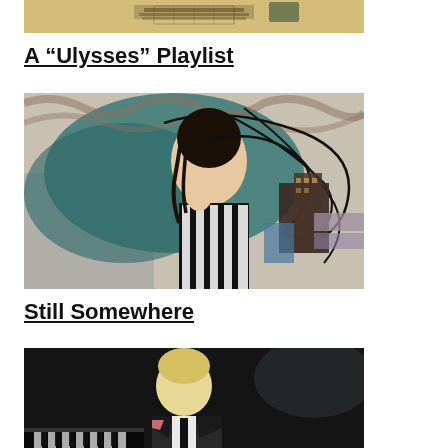[Figure (photo): Top portion of an image with a beige/tan background and some dark grid pattern detail, likely a music album cover or related artwork.]
A “Ulysses” Playlist
[Figure (photo): A woman in a black and white striped outfit lying down with artistic collage background featuring teal, grey, and dark urban elements with abstract line work.]
Still Somewhere
[Figure (photo): A blond man in a dark suit with white shirt and tie, partially visible, appearing to be at a piano or dark background.]